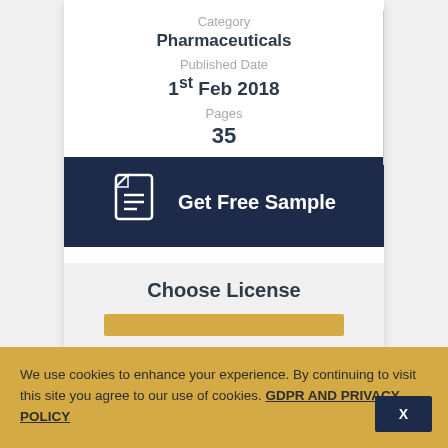Category
Pharmaceuticals
Published Date
1st Feb 2018
Pages
35
[Figure (other): Get Free Sample button with document icon on dark navy background]
Choose License
We use cookies to enhance your experience. By continuing to visit this site you agree to our use of cookies. GDPR AND PRIVACY POLICY